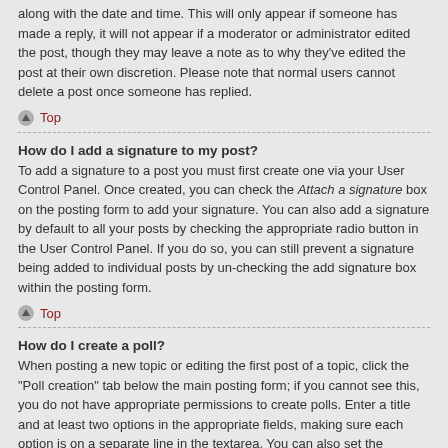along with the date and time. This will only appear if someone has made a reply, it will not appear if a moderator or administrator edited the post, though they may leave a note as to why they've edited the post at their own discretion. Please note that normal users cannot delete a post once someone has replied.
Top
How do I add a signature to my post?
To add a signature to a post you must first create one via your User Control Panel. Once created, you can check the Attach a signature box on the posting form to add your signature. You can also add a signature by default to all your posts by checking the appropriate radio button in the User Control Panel. If you do so, you can still prevent a signature being added to individual posts by un-checking the add signature box within the posting form.
Top
How do I create a poll?
When posting a new topic or editing the first post of a topic, click the “Poll creation” tab below the main posting form; if you cannot see this, you do not have appropriate permissions to create polls. Enter a title and at least two options in the appropriate fields, making sure each option is on a separate line in the textarea. You can also set the number of options users may select during voting under “Options per user”, a time limit in days for the poll (0 for infinite duration) and lastly the option to allow users to amend their votes.
Top